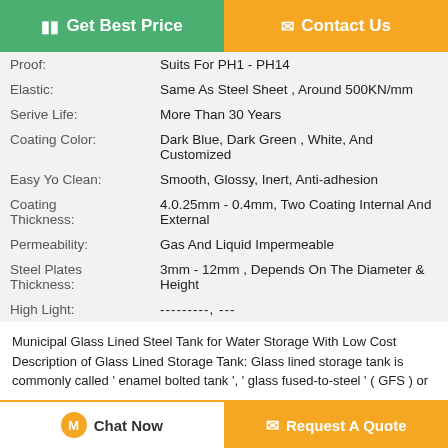| Property | Value |
| --- | --- |
| Proof: | Suits For PH1 - PH14 |
| Elastic: | Same As Steel Sheet , Around 500KN/mm |
| Serive Life: | More Than 30 Years |
| Coating Color: | Dark Blue, Dark Green , White, And Customized |
| Easy Yo Clean: | Smooth, Glossy, Inert, Anti-adhesion |
| Coating Thickness: | 4.0.25mm - 0.4mm, Two Coating Internal And External |
| Permeability: | Gas And Liquid Impermeable |
| Steel Plates Thickness: | 3mm - 12mm , Depends On The Diameter & Height |
| High Light: | ---------, --- |
Municipal Glass Lined Steel Tank for Water Storage With Low Cost Description of Glass Lined Storage Tank: Glass lined storage tank is commonly called ' enamel bolted tank ', ' glass fused-to-steel ' ( GFS ) or ...
Tags: glass coated steel tanks ,
glass coated steel tanks...